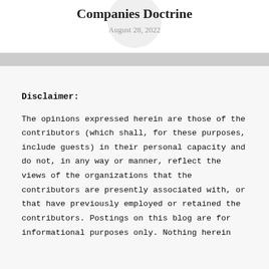Companies Doctrine
August 28, 2022
Disclaimer:
The opinions expressed herein are those of the contributors (which shall, for these purposes, include guests) in their personal capacity and do not, in any way or manner, reflect the views of the organizations that the contributors are presently associated with, or that have previously employed or retained the contributors. Postings on this blog are for informational purposes only. Nothing herein